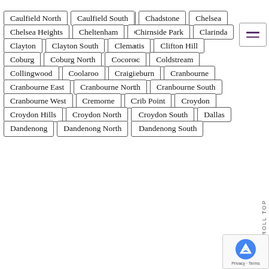Caulfield North
Caulfield South
Chadstone
Chelsea
Chelsea Heights
Cheltenham
Chirnside Park
Clarinda
Clayton
Clayton South
Clematis
Clifton Hill
Coburg
Coburg North
Cocoroc
Coldstream
Collingwood
Coolaroo
Craigieburn
Cranbourne
Cranbourne East
Cranbourne North
Cranbourne South
Cranbourne West
Cremorne
Crib Point
Croydon
Croydon Hills
Croydon North
Croydon South
Dallas
Dandenong
Dandenong North
Dandenong South